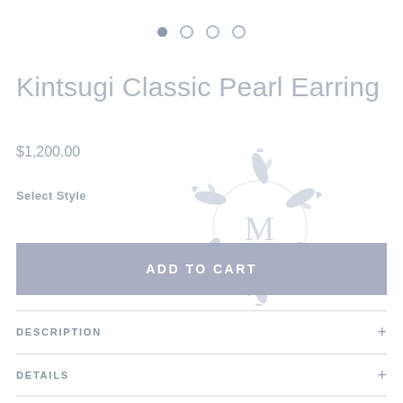[Figure (other): Carousel pagination dots: one filled blue-grey dot followed by three empty circle dots]
Kintsugi Classic Pearl Earring
$1,200.00
Select Style
[Figure (logo): Kintsugi brand watermark logo: circular arrangement of koi fish around stylized letter M]
ADD TO CART
DESCRIPTION
DETAILS